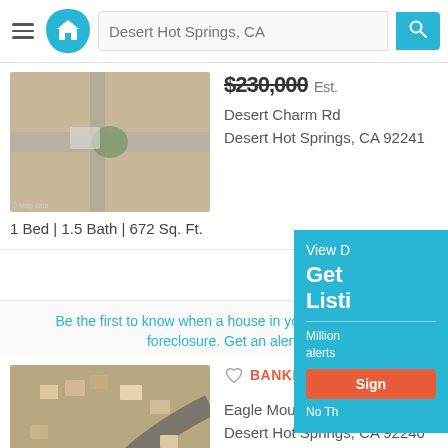Desert Hot Springs, CA
[Figure (screenshot): Aerial satellite map showing Desert Charm Rd property]
$230,000 Est.
Desert Charm Rd
Desert Hot Springs, CA 92241
1 Bed | 1.5 Bath | 672 Sq. Ft.
View D
Be the first to know when a house in your area goes in foreclosure. Get an alert!
[Figure (screenshot): Aerial satellite map showing Eagle Mountain Ave property]
BANKRUPTCY
Eagle Mountain Ave
Desert Hot Springs, CA 92240
3 Bed | 2.5 Bath | 1,630 Sq. Ft.
View Details
Get Listi
Million alerts
Sign
No Th